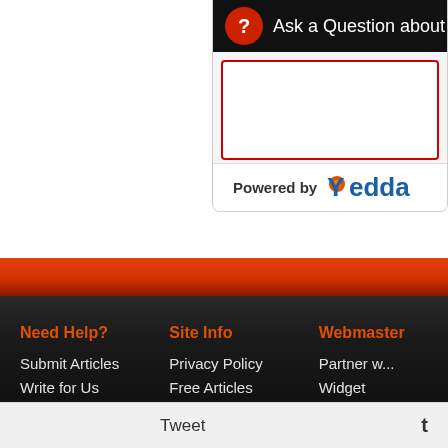[Figure (screenshot): Yedda 'Ask a Question about' widget with a red-bordered text input area, black header with question mark icon, and 'Powered by Yedda' branding at the bottom]
[Figure (screenshot): Website footer with red-orange gradient bar and dark background containing three columns: 'Need Help?' (Submit Articles, Write for Us, FAQ), 'Site Info' (Privacy Policy, Free Articles), 'Webmaster' (Partner w..., Widget, Guidelines...)]
Tweet  t